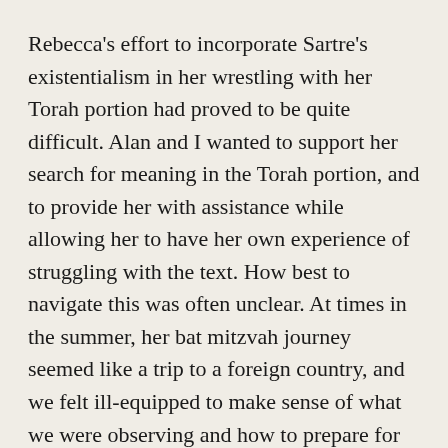Rebecca's effort to incorporate Sartre's existentialism in her wrestling with her Torah portion had proved to be quite difficult. Alan and I wanted to support her search for meaning in the Torah portion, and to provide her with assistance while allowing her to have her own experience of struggling with the text. How best to navigate this was often unclear. At times in the summer, her bat mitzvah journey seemed like a trip to a foreign country, and we felt ill-equipped to make sense of what we were observing and how to prepare for the uncertainty ahead. Alan and I even wondered if we really wanted to keep moving forward, if to do so meant so much angst for our daughter and for us.
What Rebecca...